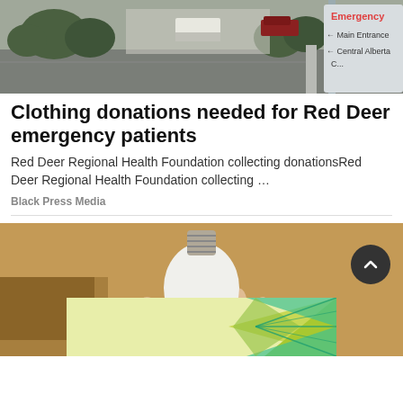[Figure (photo): Exterior photo of a hospital or medical facility with parking lot, trees, and a directional sign showing Emergency, Main Entrance, and Central Alberta]
Clothing donations needed for Red Deer emergency patients
Red Deer Regional Health Foundation collecting donationsRed Deer Regional Health Foundation collecting ...
Black Press Media
[Figure (photo): A hand holding a white smart light bulb shaped device with a camera lens at the bottom, placed against a beige/brown background. An advertisement banner overlay is visible at the bottom.]